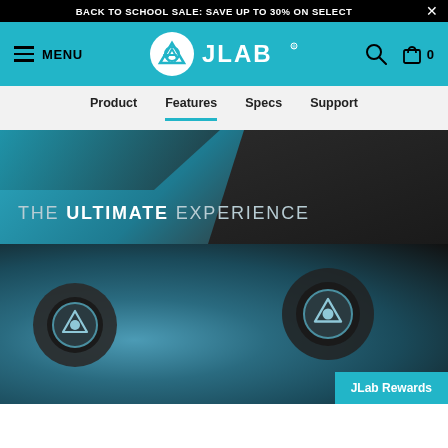BACK TO SCHOOL SALE: SAVE UP TO 30% ON SELECT
[Figure (logo): JLab navigation header with hamburger menu, MENU text, JLab logo, search icon, and cart icon (0 items) on teal background]
Product  Features  Specs  Support
[Figure (photo): Close-up product photo showing earbuds on teal/blue background with text overlay: THE ULTIMATE EXPERIENCE. Dark angled panel in background.]
[Figure (photo): Close-up macro photo of two JLab earbuds showing the JLab logo/branding on the earbud housing, teal and dark colors]
JLab Rewards